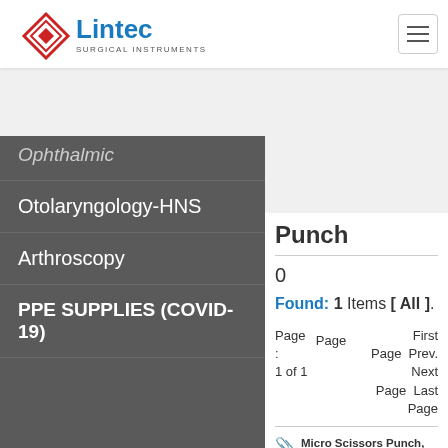[Figure (logo): Lintec Surgical Instruments logo with red diamond shape and blue text]
Ophthalmic
Otolaryngology-HNS
Arthroscopy
PPE SUPPLIES (COVID-19)
| Product Name |
| --- |
| Hook Punch with Scoop |
| Punch wide jaw, Large |
| Punch wide jaw, Medium |
| Punch wide jaw, small |
| Micro Scissors Punch |
Punch
0
Found: 1 Items [ All ].
Page : 1 of 1   Page   First Page  Next Page   Prev. Last Page
Micro Scissors Punch, Straight, 3.5mm Micro Scissors Punch, Straight, 0.8mm, 3.5mm Shaft diameter, 5 1/8" length, Stainless Steel read more..